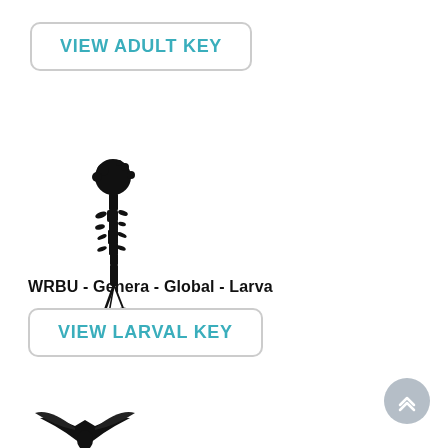VIEW ADULT KEY
[Figure (illustration): Black silhouette illustration of a mosquito larva (WRBU larval specimen), elongated vertical posture with head detail at top and tail at bottom]
WRBU - Genera - Global - Larva
VIEW LARVAL KEY
[Figure (illustration): Partial black silhouette of a mosquito or insect specimen, partially visible at bottom of page]